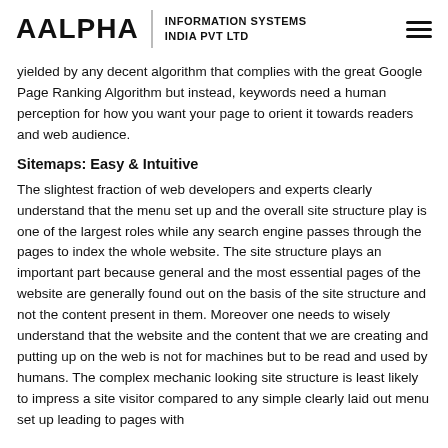AALPHA | INFORMATION SYSTEMS INDIA PVT LTD
yielded by any decent algorithm that complies with the great Google Page Ranking Algorithm but instead, keywords need a human perception for how you want your page to orient it towards readers and web audience.
Sitemaps: Easy & Intuitive
The slightest fraction of web developers and experts clearly understand that the menu set up and the overall site structure play is one of the largest roles while any search engine passes through the pages to index the whole website. The site structure plays an important part because general and the most essential pages of the website are generally found out on the basis of the site structure and not the content present in them. Moreover one needs to wisely understand that the website and the content that we are creating and putting up on the web is not for machines but to be read and used by humans. The complex mechanic looking site structure is least likely to impress a site visitor compared to any simple clearly laid out menu set up leading to pages with